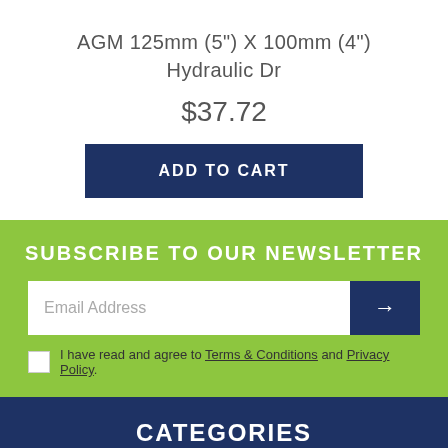AGM 125mm (5") X 100mm (4") Hydraulic Dr
$37.72
ADD TO CART
SUBSCRIBE TO OUR NEWSLETTER
Email Address
I have read and agree to Terms & Conditions and Privacy Policy.
CATEGORIES
Spray Valves & Nozzles
Shut Off Valves